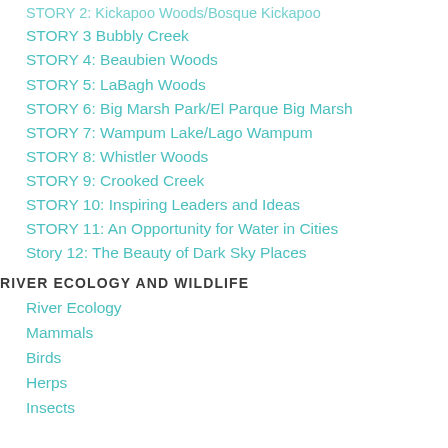STORY 2: Kickapoo Woods/Bosque Kickapoo
STORY 3 Bubbly Creek
STORY 4: Beaubien Woods
STORY 5: LaBagh Woods
STORY 6: Big Marsh Park/El Parque Big Marsh
STORY 7: Wampum Lake/Lago Wampum
STORY 8: Whistler Woods
STORY 9: Crooked Creek
STORY 10: Inspiring Leaders and Ideas
STORY 11: An Opportunity for Water in Cities
Story 12: The Beauty of Dark Sky Places
RIVER ECOLOGY AND WILDLIFE
River Ecology
Mammals
Birds
Herps
Insects